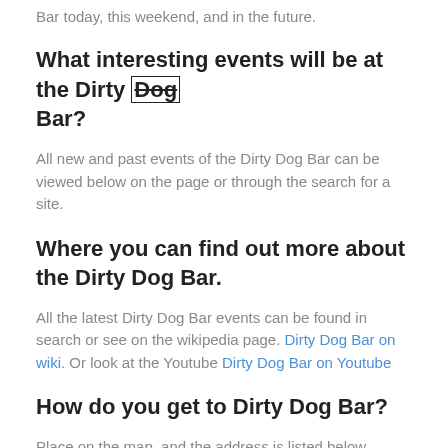Bar today, this weekend, and in the future.
What interesting events will be at the Dirty Dog Bar?
All new and past events of the Dirty Dog Bar can be viewed below on the page or through the search for a site.
Where you can find out more about the Dirty Dog Bar.
All the latest Dirty Dog Bar events can be found in search or see on the wikipedia page. Dirty Dog Bar on wiki. Or look at the Youtube Dirty Dog Bar on Youtube
How do you get to Dirty Dog Bar?
Place on the map, and the address is listed below.